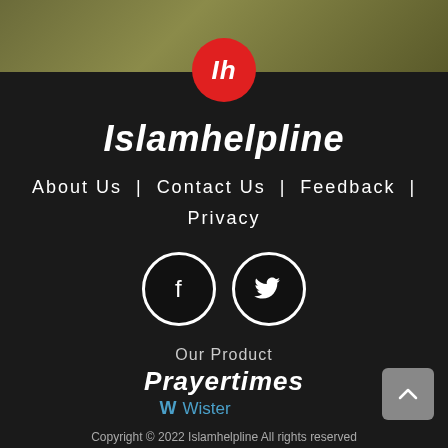[Figure (illustration): Olive/khaki gradient top banner background]
[Figure (logo): Red circle logo with white italic 'Ih' text for Islamhelpline]
Islamhelpline
About Us | Contact Us | Feedback | Privacy
[Figure (illustration): Facebook and Twitter social media icon circles (white outline circles on dark background)]
Our Product
Prayertimes
W Wister
Copyright © 2022 Islamhelpline All rights reserved